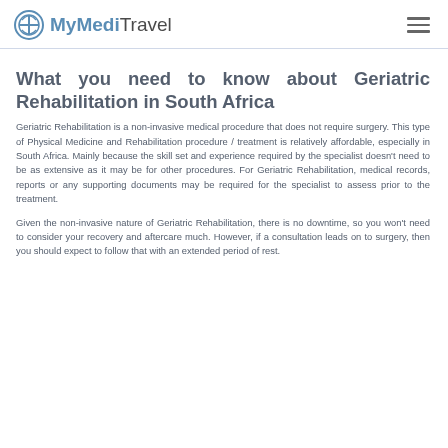MyMediTravel
What you need to know about Geriatric Rehabilitation in South Africa
Geriatric Rehabilitation is a non-invasive medical procedure that does not require surgery. This type of Physical Medicine and Rehabilitation procedure / treatment is relatively affordable, especially in South Africa. Mainly because the skill set and experience required by the specialist doesn't need to be as extensive as it may be for other procedures. For Geriatric Rehabilitation, medical records, reports or any supporting documents may be required for the specialist to assess prior to the treatment.
Given the non-invasive nature of Geriatric Rehabilitation, there is no downtime, so you won't need to consider your recovery and aftercare much. However, if a consultation leads on to surgery, then you should expect to follow that with an extended period of rest.